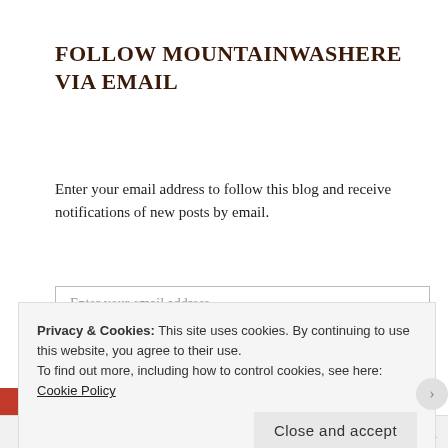FOLLOW MOUNTAINWASHERE VIA EMAIL
Enter your email address to follow this blog and receive notifications of new posts by email.
Privacy & Cookies: This site uses cookies. By continuing to use this website, you agree to their use.
To find out more, including how to control cookies, see here: Cookie Policy
Close and accept